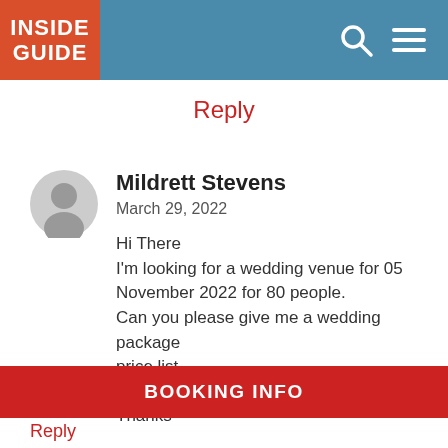INSIDE GUIDE
Reply
Mildrett Stevens
March 29, 2022

Hi There
I'm looking for a wedding venue for 05 November 2022 for 80 people.
Can you please give me a wedding package price list.

Thanks
BOOKING INFO
Reply